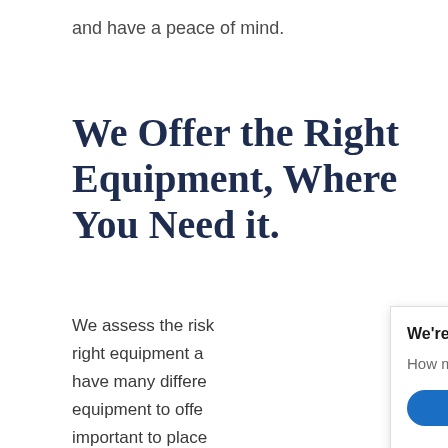and have a peace of mind.
We Offer the Right Equipment, Where You Need it.
We assess the risk right equipment a have many differe equipment to offe important to place areas and use the right equipment for the
[Figure (screenshot): Live chat popup overlay with 'We're Online!' heading, 'How may I help you today?' subtext, a 'Chat now' blue button, and a photo of a woman wearing a headset]